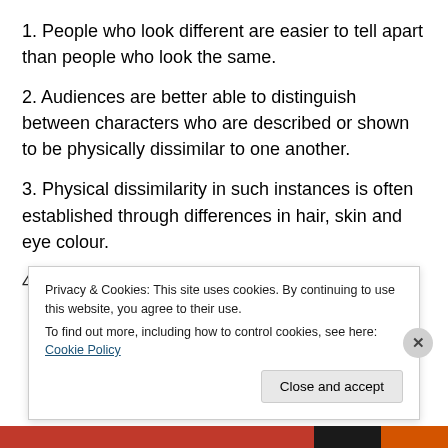1. People who look different are easier to tell apart than people who look the same.
2. Audiences are better able to distinguish between characters who are described or shown to be physically dissimilar to one another.
3. Physical dissimilarity in such instances is often established through differences in hair, skin and eye colour.
4. [partial text cut off by cookie banner]
Privacy & Cookies: This site uses cookies. By continuing to use this website, you agree to their use. To find out more, including how to control cookies, see here: Cookie Policy